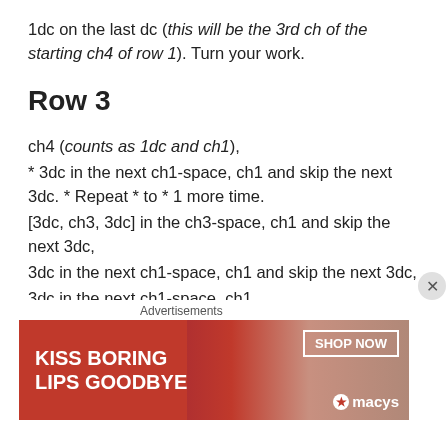1dc on the last dc (this will be the 3rd ch of the starting ch4 of row 1). Turn your work.
Row 3
ch4 (counts as 1dc and ch1),
* 3dc in the next ch1-space, ch1 and skip the next 3dc. * Repeat * to * 1 more time.
[3dc, ch3, 3dc] in the ch3-space, ch1 and skip the next 3dc,
3dc in the next ch1-space, ch1 and skip the next 3dc,
3dc in the next ch1-space, ch1
[Figure (advertisement): Macy's lipstick advertisement: KISS BORING LIPS GOODBYE with SHOP NOW button and Macy's star logo]